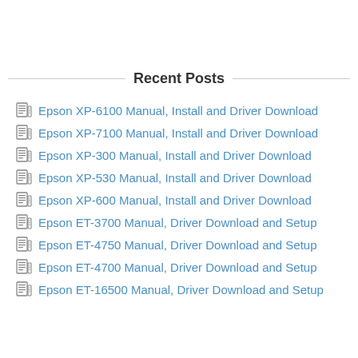Recent Posts
Epson XP-6100 Manual, Install and Driver Download
Epson XP-7100 Manual, Install and Driver Download
Epson XP-300 Manual, Install and Driver Download
Epson XP-530 Manual, Install and Driver Download
Epson XP-600 Manual, Install and Driver Download
Epson ET-3700 Manual, Driver Download and Setup
Epson ET-4750 Manual, Driver Download and Setup
Epson ET-4700 Manual, Driver Download and Setup
Epson ET-16500 Manual, Driver Download and Setup